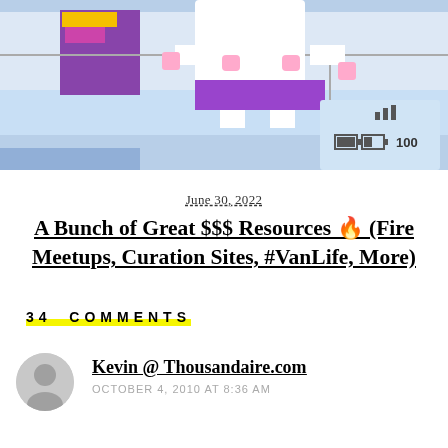[Figure (illustration): Pixel art illustration of a cartoon character (white creature/unicorn) in a colorful scene with blue and purple elements, resembling a retro video game interface with battery/signal indicators]
June 30, 2022
A Bunch of Great $$$ Resources 🔥 (Fire Meetups, Curation Sites, #VanLife, More)
34 COMMENTS
Kevin @ Thousandaire.com
OCTOBER 4, 2010 AT 8:36 AM